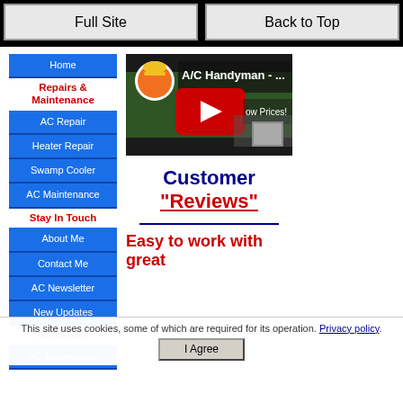Full Site | Back to Top
Home
Repairs & Maintenance
AC Repair
Heater Repair
Swamp Cooler
AC Maintenance
Stay In Touch
About Me
Contact Me
AC Newsletter
New Updates
GENERAL
AC Testimonials
[Figure (screenshot): YouTube video thumbnail showing A/C Handyman with orange cartoon character and play button]
Customer "Reviews"
Easy to work with great
This site uses cookies, some of which are required for its operation. Privacy policy. I Agree